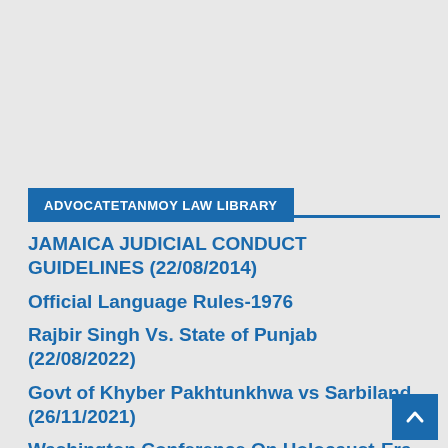ADVOCATETANMOY LAW LIBRARY
JAMAICA JUDICIAL CONDUCT GUIDELINES (22/08/2014)
Official Language Rules-1976
Rajbir Singh Vs. State of Punjab (22/08/2022)
Govt of Khyber Pakhtunkhwa vs Sarbiland (26/11/2021)
Washington Conference On Holocaust-Era Assets-1999